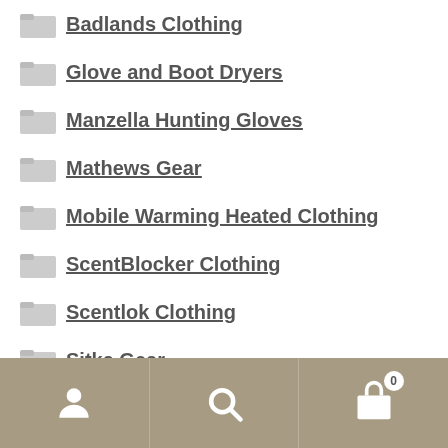Badlands Clothing
Glove and Boot Dryers
Manzella Hunting Gloves
Mathews Gear
Mobile Warming Heated Clothing
ScentBlocker Clothing
Scentlok Clothing
Sitka Gear
Sitka Belts
Sitka Boots
Sitka Gear Base Layers
Sitka Gear Gloves
User icon | Search icon | Cart (0)